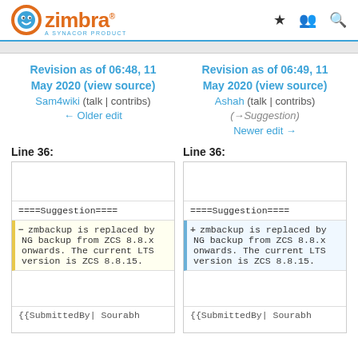Zimbra - A Synacor Product
Revision as of 06:48, 11 May 2020 (view source)
Sam4wiki (talk | contribs)
← Older edit
Revision as of 06:49, 11 May 2020 (view source)
Ashah (talk | contribs)
(→Suggestion)
Newer edit →
Line 36:
Line 36:
|  |  |
| ====Suggestion==== | ====Suggestion==== |
| zmbackup is replaced by NG backup from ZCS 8.8.x onwards. The current LTS version is ZCS 8.8.15. | zmbackup is replaced by NG backup from ZCS 8.8.x onwards. The current LTS version is ZCS 8.8.15. |
|  |  |
| {{SubmittedBy| Sourabh | {{SubmittedBy| Sourabh |